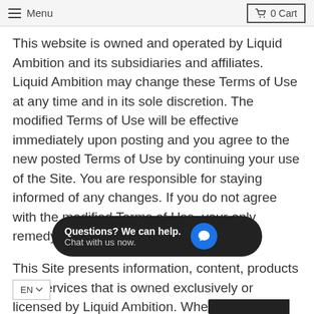Menu   0 Cart
This website is owned and operated by Liquid Ambition and its subsidiaries and affiliates. Liquid Ambition may change these Terms of Use at any time and in its sole discretion. The modified Terms of Use will be effective immediately upon posting and you agree to the new posted Terms of Use by continuing your use of the Site. You are responsible for staying informed of any changes. If you do not agree with the modified Terms of Use, your only remedy is to discontinue using the Site.
This Site presents information, content, products and services that is owned exclusively or licensed by Liquid Ambition. When referring to Terms of Use, "we" and "our" means Liquid Ambition and "your" means any individual, company, or legal entity that